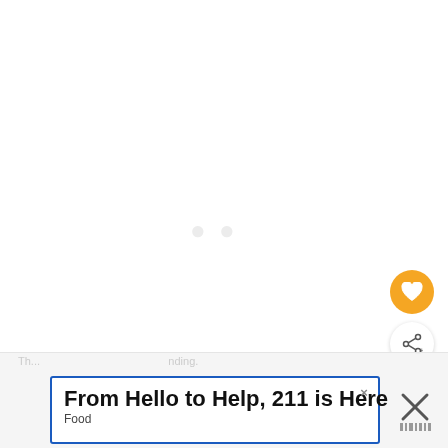[Figure (screenshot): Mostly blank white content area of a webpage, with a faint watermark/loading indicator in the center]
[Figure (other): Orange circular heart/favorite button]
[Figure (other): White circular share button with share icon]
WHAT'S NEXT → Best Bunn Coffee Make...
From Hello to Help, 211 is Here
Food
Th... nding.